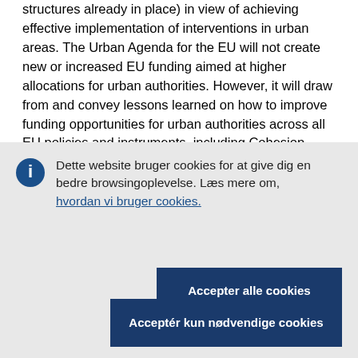structures already in place) in view of achieving effective implementation of interventions in urban areas. The Urban Agenda for the EU will not create new or increased EU funding aimed at higher allocations for urban authorities. However, it will draw from and convey lessons learned on how to improve funding opportunities for urban authorities across all EU policies and instruments, including Cohesion
Dette website bruger cookies for at give dig en bedre browsingoplevelse. Læs mere om, hvordan vi bruger cookies.
Accepter alle cookies
Acceptér kun nødvendige cookies